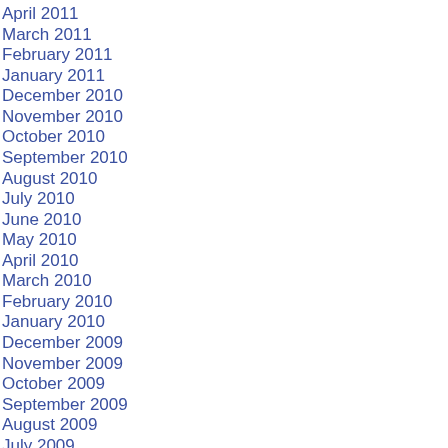April 2011
March 2011
February 2011
January 2011
December 2010
November 2010
October 2010
September 2010
August 2010
July 2010
June 2010
May 2010
April 2010
March 2010
February 2010
January 2010
December 2009
November 2009
October 2009
September 2009
August 2009
July 2009